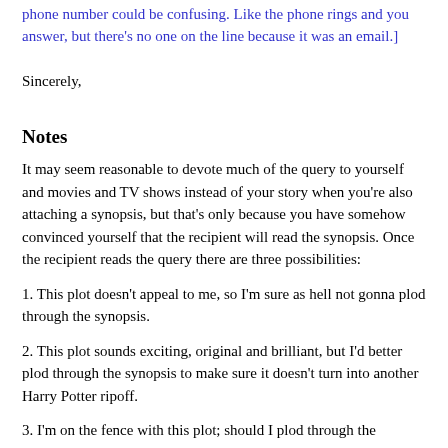phone number could be confusing. Like the phone rings and you answer, but there's no one on the line because it was an email.]
Sincerely,
Notes
It may seem reasonable to devote much of the query to yourself and movies and TV shows instead of your story when you're also attaching a synopsis, but that's only because you have somehow convinced yourself that the recipient will read the synopsis. Once the recipient reads the query there are three possibilities:
1. This plot doesn't appeal to me, so I'm sure as hell not gonna plod through the synopsis.
2. This plot sounds exciting, original and brilliant, but I'd better plod through the synopsis to make sure it doesn't turn into another Harry Potter ripoff.
3. I'm on the fence with this plot; should I plod through the